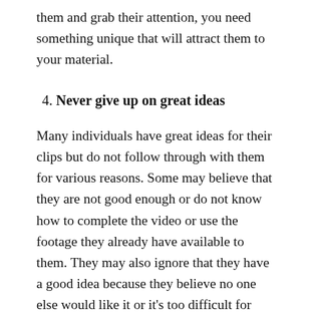them and grab their attention, you need something unique that will attract them to your material.
4. Never give up on great ideas
Many individuals have great ideas for their clips but do not follow through with them for various reasons. Some may believe that they are not good enough or do not know how to complete the video or use the footage they already have available to them. They may also ignore that they have a good idea because they believe no one else would like it or it’s too difficult for someone else to understand. When you start creating videos, it is very important to always follow your ideas and never allow others to stop you from making your dream a reality. There will be times when others